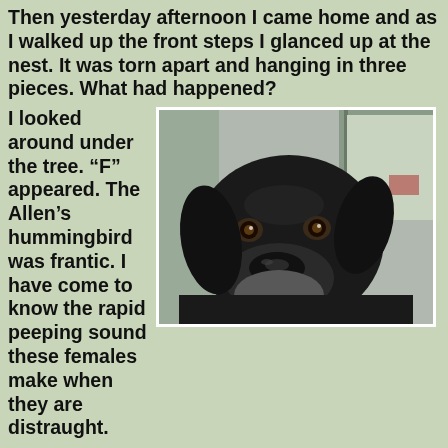Then yesterday afternoon I came home and as I walked up the front steps I glanced up at the nest. It was torn apart and hanging in three pieces. What had happened?
I looked around under the tree. “F” appeared. The Allen’s hummingbird was frantic. I have come to know the rapid peeping sound these females make when they are distraught. (Readers: you miss so much in life). This little bird
[Figure (photo): Close-up photo of a black Labrador dog looking directly at the camera, taken indoors near a doorway.]